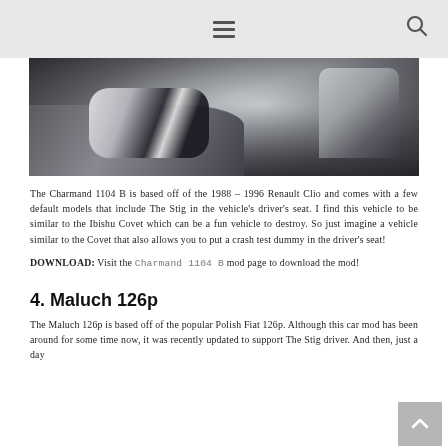[hamburger menu icon] [search icon]
[Figure (photo): Close-up photo of a character in a white and black racing suit (The Stig) sitting in a car driver's seat, gripping a steering wheel, viewed from inside the vehicle.]
The Charmand 1104 B is based off of the 1988 – 1996 Renault Clio and comes with a few default models that include The Stig in the vehicle's driver's seat. I find this vehicle to be similar to the Ibishu Covet which can be a fun vehicle to destroy. So just imagine a vehicle similar to the Covet that also allows you to put a crash test dummy in the driver's seat!
DOWNLOAD: Visit the Charmand 1104 B mod page to download the mod!
4. Maluch 126p
The Maluch 126p is based off of the popular Polish Fiat 126p. Although this car mod has been around for some time now, it was recently updated to support The Stig driver. And then, just a day